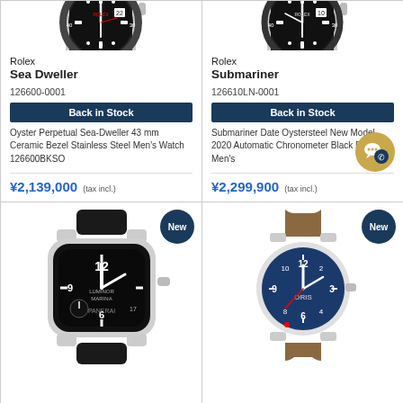[Figure (photo): Rolex Sea Dweller watch with black ceramic bezel and stainless steel bracelet]
Rolex
Sea Dweller
126600-0001
Back in Stock
Oyster Perpetual Sea-Dweller 43 mm Ceramic Bezel Stainless Steel Men's Watch 126600BKSO
¥2,139,000 (tax incl.)
[Figure (photo): Rolex Submariner watch with black dial and stainless steel bracelet]
Rolex
Submariner
126610LN-0001
Back in Stock
Submariner Date Oystersteel New Model 2020 Automatic Chronometer Black Dial Men's
¥2,299,900 (tax incl.)
[Figure (photo): Panerai Luminor Marina watch with black dial and black leather strap]
[Figure (photo): Oris Big Crown watch with blue dial and brown leather strap]